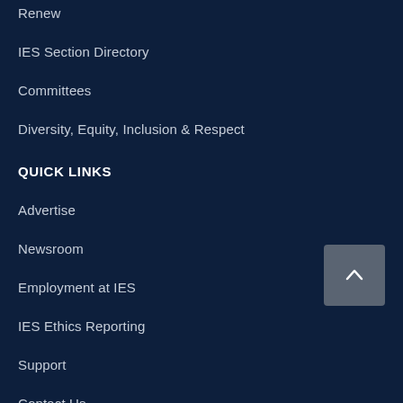Renew
IES Section Directory
Committees
Diversity, Equity, Inclusion & Respect
QUICK LINKS
Advertise
Newsroom
Employment at IES
IES Ethics Reporting
Support
Contact Us
POLICIES
Terms of Use